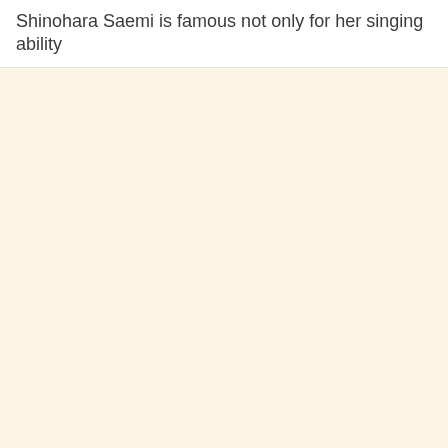Shinohara Saemi is famous not only for her singing ability
[Figure (other): Large cream/beige colored blank content area, likely placeholder for an image that did not load.]